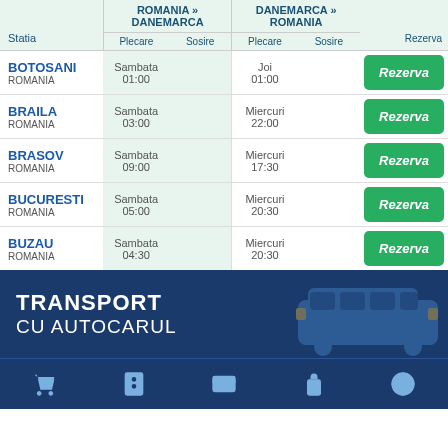| Statia | ROMANIA » DANEMARCA Plecare | ROMANIA » DANEMARCA Sosire | DANEMARCA » ROMANIA Plecare | DANEMARCA » ROMANIA Sosire | Rezerva |
| --- | --- | --- | --- | --- | --- |
| BOTOSANI ROMANIA | Sambata 01:00 |  | Joi 01:00 |  | Rezerva |
| BRAILA ROMANIA | Sambata 03:00 |  | Miercuri 22:00 |  | Rezerva |
| BRASOV ROMANIA | Sambata 09:00 |  | Miercuri 17:30 |  | Rezerva |
| BUCURESTI ROMANIA | Sambata 05:00 |  | Miercuri 20:30 |  | Rezerva |
| BUZAU ROMANIA | Sambata 04:30 |  | Miercuri 20:30 |  | Rezerva |
[Figure (infographic): Banner with bus coach image and text TRANSPORT CU AUTOCARUL on dark navy background]
Navigation bar with icons: cart, food/phone, card, luggage, globe